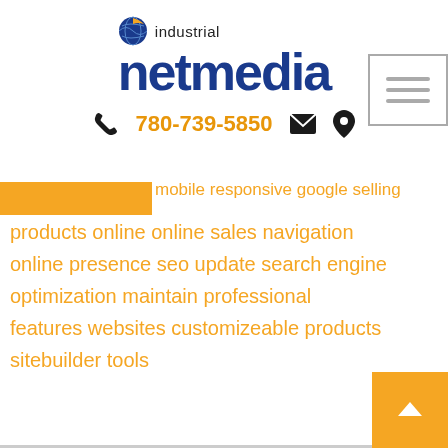[Figure (logo): Industrial NetMedia logo with yellow/blue globe icon, word 'industrial' above and 'netmedia' in large bold blue text]
780-739-5850
mobile responsive google selling products online online sales navigation online presence seo update search engine optimization maintain professional features websites customizeable products sitebuilder tools